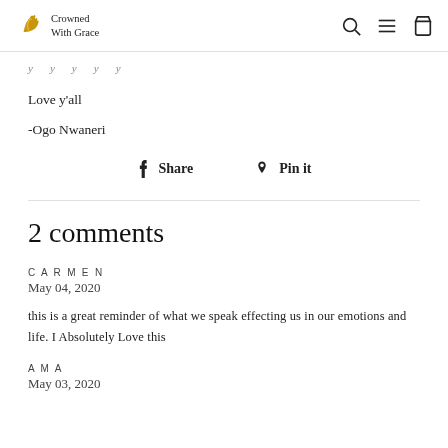Crowned With Grace
Love y'all
-Ogo Nwaneri
Share   Pin it
2 comments
CARMEN
May 04, 2020
this is a great reminder of what we speak effecting us in our emotions and life. I Absolutely Love this
AMA
May 03, 2020